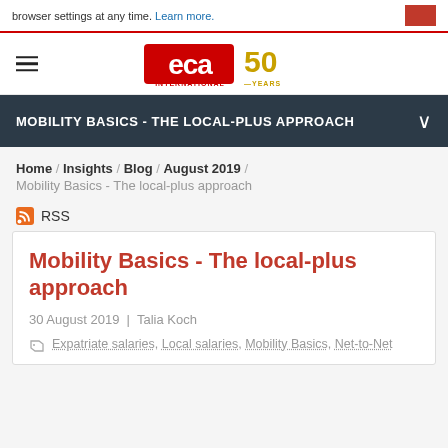browser settings at any time. Learn more.
[Figure (logo): ECA International 50 Years logo — red 'eca' text, gold '50', red 'INTERNATIONAL', gold '—YEARS']
MOBILITY BASICS - THE LOCAL-PLUS APPROACH
Home / Insights / Blog / August 2019 /
Mobility Basics - The local-plus approach
RSS
Mobility Basics - The local-plus approach
30 August 2019  |  Talia Koch
Expatriate salaries, Local salaries, Mobility Basics, Net-to-Net